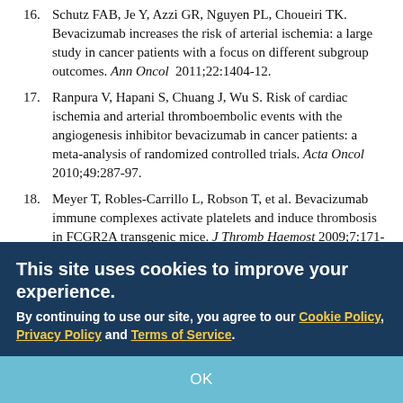16. Schutz FAB, Je Y, Azzi GR, Nguyen PL, Choueiri TK. Bevacizumab increases the risk of arterial ischemia: a large study in cancer patients with a focus on different subgroup outcomes. Ann Oncol 2011;22:1404-12.
17. Ranpura V, Hapani S, Chuang J, Wu S. Risk of cardiac ischemia and arterial thromboembolic events with the angiogenesis inhibitor bevacizumab in cancer patients: a meta-analysis of randomized controlled trials. Acta Oncol 2010;49:287-97.
18. Meyer T, Robles-Carrillo L, Robson T, et al. Bevacizumab immune complexes activate platelets and induce thrombosis in FCGR2A transgenic mice. J Thromb Haemost 2009;7:171-81.
19. An Y, Tiwari AK, Sun Y, Ding PR, Ashby CR Jr, Chen ZS. BCR-ABL tyrosine kinase inhibitors in the treatment of Philadelphia chromosome positive chronic myeloid leukemia: a review. Leuk Res 2010;34:1255-68.
Cookie consent overlay: This site uses cookies to improve your experience. By continuing to use our site, you agree to our Cookie Policy, Privacy Policy and Terms of Service.